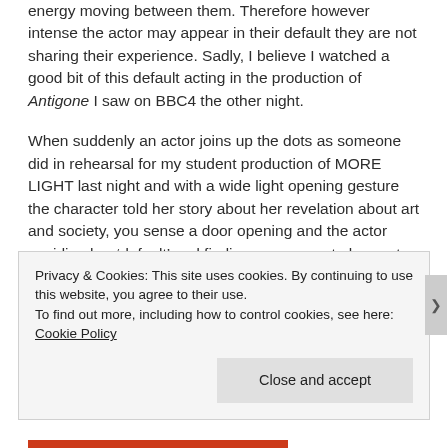energy moving between them. Therefore however intense the actor may appear in their default they are not sharing their experience. Sadly, I believe I watched a good bit of this default acting in the production of Antigone I saw on BBC4 the other night.
When suddenly an actor joins up the dots as someone did in rehearsal for my student production of MORE LIGHT last night and with a wide light opening gesture the character told her story about her revelation about art and society, you sense a door opening and the actor avoiding her ‘default’ and finding a new way to be , not just for the character but also a new choice for herself.
Privacy & Cookies: This site uses cookies. By continuing to use this website, you agree to their use. To find out more, including how to control cookies, see here: Cookie Policy